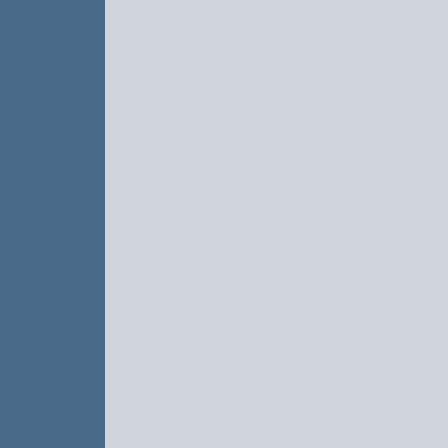advertisements?
Is there a "buy-in" price for people to "get to be in the program"?
Is this Click Fraud?

Basically, who's getting scammed here?
Steve Jobs ate my cat's watermelon.
Captain Drew on Twitter
[Figure (other): User avatar icon (person silhouette)]
quote
Wyatt
Veteran Member
Join Date: Mar 2005
Location: Near Indianapolis
2006-11-29, 12:16
Quote:
Originally Posted by drewprops
Why would anyone want to pay to have people to pretend to read their advertisements? Is there a "buy-in" price for